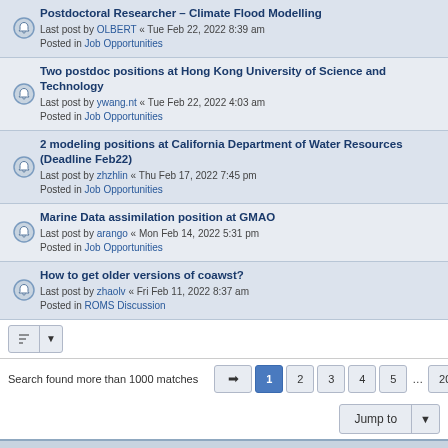Postdoctoral Researcher – Climate Flood Modelling
Last post by OLBERT « Tue Feb 22, 2022 8:39 am
Posted in Job Opportunities
Two postdoc positions at Hong Kong University of Science and Technology
Last post by ywang.nt « Tue Feb 22, 2022 4:03 am
Posted in Job Opportunities
2 modeling positions at California Department of Water Resources (Deadline Feb22)
Last post by zhzhlin « Thu Feb 17, 2022 7:45 pm
Posted in Job Opportunities
Marine Data assimilation position at GMAO
Last post by arango « Mon Feb 14, 2022 5:31 pm
Posted in Job Opportunities
How to get older versions of coawst?
Last post by zhaolv « Fri Feb 11, 2022 8:37 am
Posted in ROMS Discussion
Search found more than 1000 matches
Jump to
Board index   Contact us   Delete cookies   All times are UTC
Style developed by Zuma Portal, Turaiel,
Powered by phpBB® Forum Software © phpBB Limited
Privacy | Terms